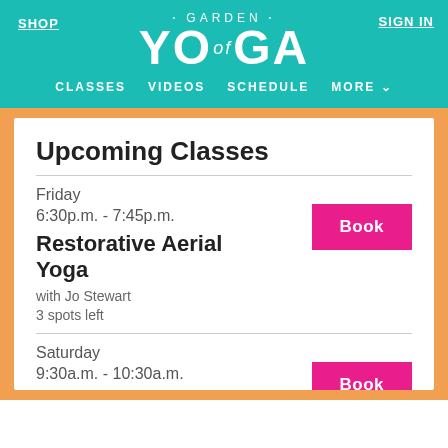SHOP | GARDEN of YOGA | SIGN IN
CLASSES  VIDEOS  SCHEDULE  MORE
Upcoming Classes
Friday
6:30p.m. - 7:45p.m.
Restorative Aerial Yoga
with Jo Stewart
3 spots left
Saturday
9:30a.m. - 10:30a.m.